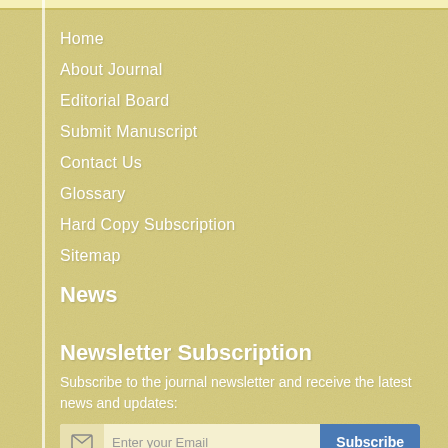Home
About Journal
Editorial Board
Submit Manuscript
Contact Us
Glossary
Hard Copy Subscription
Sitemap
News
Newsletter Subscription
Subscribe to the journal newsletter and receive the latest news and updates: